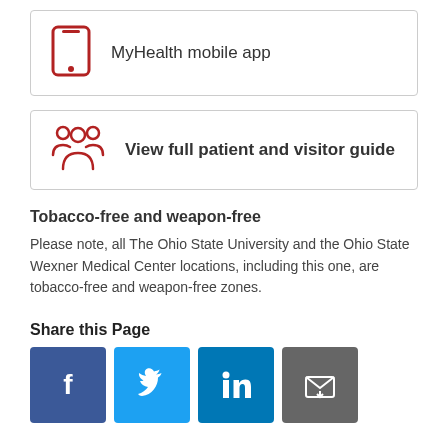[Figure (infographic): Card with red smartphone/mobile app icon and text 'MyHealth mobile app']
[Figure (infographic): Card with red people/group icon and text 'View full patient and visitor guide']
Tobacco-free and weapon-free
Please note, all The Ohio State University and the Ohio State Wexner Medical Center locations, including this one, are tobacco-free and weapon-free zones.
Share this Page
[Figure (infographic): Social share buttons: Facebook (blue), Twitter (cyan), LinkedIn (blue), Email (gray)]